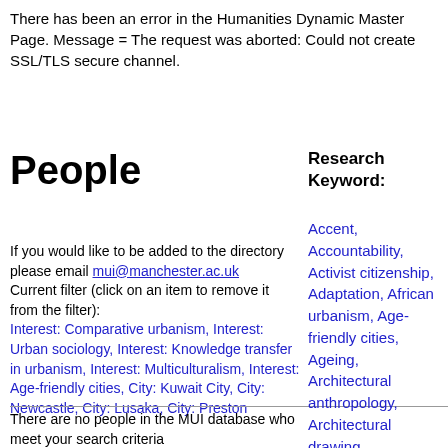There has been an error in the Humanities Dynamic Master Page. Message = The request was aborted: Could not create SSL/TLS secure channel.
People
Research Keyword:
If you would like to be added to the directory please email mui@manchester.ac.uk
Current filter (click on an item to remove it from the filter):
Interest: Comparative urbanism, Interest: Urban sociology, Interest: Knowledge transfer in urbanism, Interest: Multiculturalism, Interest: Age-friendly cities, City: Kuwait City, City: Newcastle, City: Lusaka, City: Preston
There are no people in the MUI database who meet your search criteria
Accent, Accountability, Activist citizenship, Adaptation, African urbanism, Age-friendly cities, Ageing, Architectural anthropology, Architectural drawing, Architectural ethnography, Architecture, Art, Aspiration, Atmosphere, Austerity,